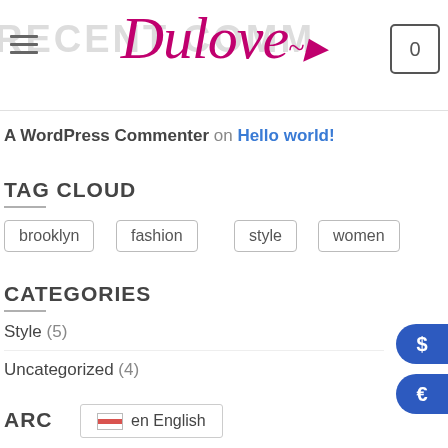[Figure (logo): Dulove brand logo in cursive magenta/pink script with decorative bra icon, on white header background with faint 'RECENT COMMENTS' text watermark and hamburger menu icon and cart icon showing 0]
A WordPress Commenter on Hello world!
TAG CLOUD
brooklyn
fashion
style
women
CATEGORIES
Style (5)
Uncategorized (4)
ARC
en English